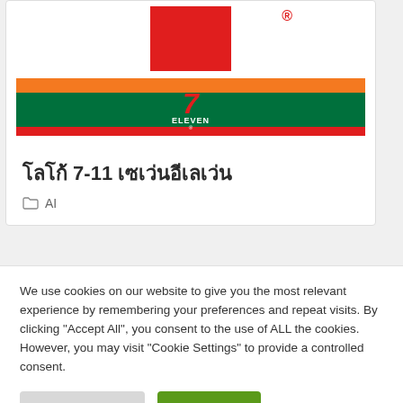[Figure (logo): 7-Eleven logo with red square top portion, orange stripe, green stripe with '7 ELEVEN' text, and red stripe at bottom]
โลโก้ 7-11 เซเว่นอีเลเว่น
AI
We use cookies on our website to give you the most relevant experience by remembering your preferences and repeat visits. By clicking "Accept All", you consent to the use of ALL the cookies. However, you may visit "Cookie Settings" to provide a controlled consent.